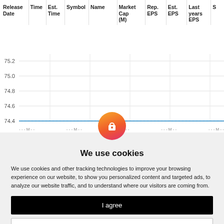| Release Date | Time | Est. Time | Symbol | Name | Market Cap (M) | Rep. EPS | Est. EPS | Last years EPS | S |
| --- | --- | --- | --- | --- | --- | --- | --- | --- | --- |
[Figure (continuous-plot): Line chart showing a flat blue line at approximately 74.4 level, with y-axis labels 74.4, 74.6, 74.8, 75.0, 75.2 and dashed x-axis date labels below]
[Figure (other): Cookie consent dialog overlay with blogger/lock icon (orange-red gradient circle), title 'We use cookies', body text, 'I agree' black button, and 'Change my preferences' outlined button with gear icon]